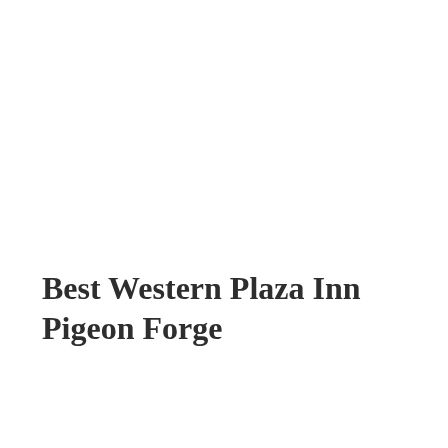Best Western Plaza Inn Pigeon Forge